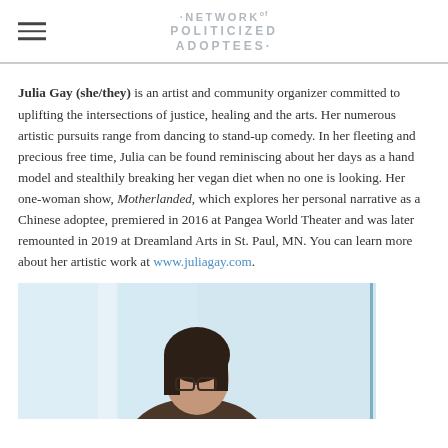NETWORK of POLITICIZED ADOPTEES
Julia Gay (she/they) is an artist and community organizer committed to uplifting the intersections of justice, healing and the arts. Her numerous artistic pursuits range from dancing to stand-up comedy. In her fleeting and precious free time, Julia can be found reminiscing about her days as a hand model and stealthily breaking her vegan diet when no one is looking. Her one-woman show, Motherlanded, which explores her personal narrative as a Chinese adoptee, premiered in 2016 at Pangea World Theater and was later remounted in 2019 at Dreamland Arts in St. Paul, MN. You can learn more about her artistic work at www.juliagay.com.
[Figure (photo): Portrait photo of Julia Gay, a woman with dark hair wearing glasses, shown from shoulders up against a light blue/white background with a vertical divider line on the right side of the image.]